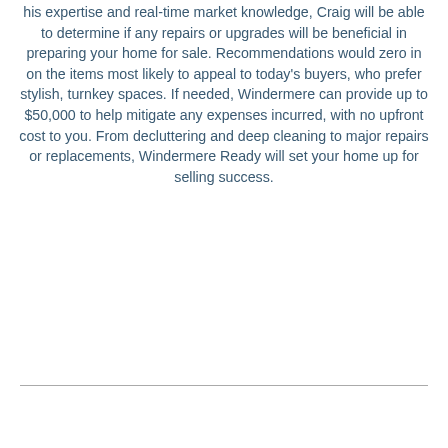his expertise and real-time market knowledge, Craig will be able to determine if any repairs or upgrades will be beneficial in preparing your home for sale. Recommendations would zero in on the items most likely to appeal to today's buyers, who prefer stylish, turnkey spaces. If needed, Windermere can provide up to $50,000 to help mitigate any expenses incurred, with no upfront cost to you. From decluttering and deep cleaning to major repairs or replacements, Windermere Ready will set your home up for selling success.